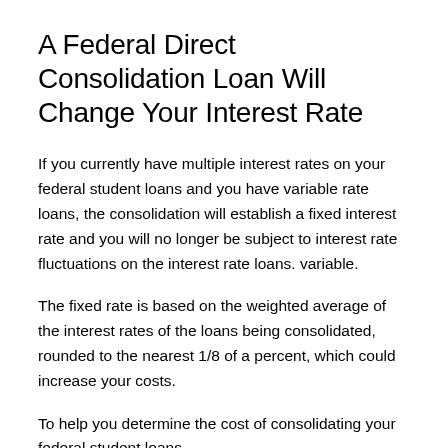A Federal Direct Consolidation Loan Will Change Your Interest Rate
If you currently have multiple interest rates on your federal student loans and you have variable rate loans, the consolidation will establish a fixed interest rate and you will no longer be subject to interest rate fluctuations on the interest rate loans. variable.
The fixed rate is based on the weighted average of the interest rates of the loans being consolidated, rounded to the nearest 1/8 of a percent, which could increase your costs.
To help you determine the cost of consolidating your federal student loans, you may use the tools that are available...